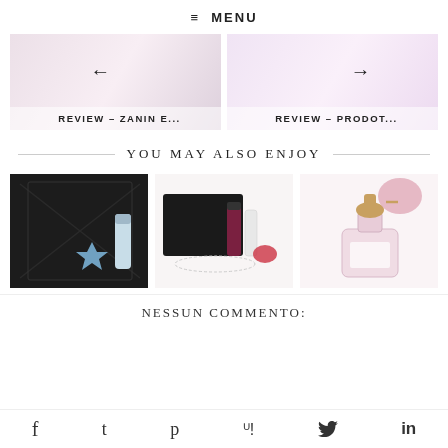≡ MENU
[Figure (screenshot): Two carousel cards side by side. Left card shows pink/cream beauty products background with left arrow and text 'REVIEW – ZANIN E...'. Right card shows pink beauty products background with right arrow and text 'REVIEW – PRODOT...']
YOU MAY ALSO ENJOY
[Figure (photo): Beauty flatlay with black geometric envelope clutch, blue star-shaped Angel perfume bottle by Thierry Mugler, and a tube of face cream on white background]
[Figure (photo): Beauty flatlay with black Zoya pouch, nail polishes in maroon and clear, pearl necklace, red lip accessories on white background]
[Figure (photo): Vintage-style pink perfume bottle with pink powder puff/bulb atomizer on white background]
NESSUN COMMENTO:
f   t   p   (twitter bird)   in